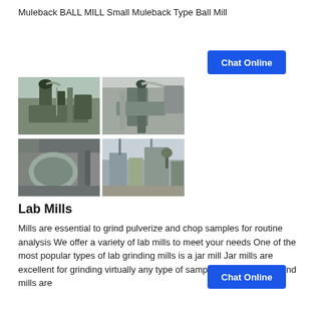Muleback BALL MILL Small Muleback Type Ball Mill
[Figure (photo): Four industrial mill/grinding equipment photos arranged in a 2x2 grid showing factory floor and outdoor equipment installations]
Lab Mills
Mills are essential to grind pulverize and chop samples for routine analysis We offer a variety of lab mills to meet your needs One of the most popular types of lab grinding mills is a jar mill Jar mills are excellent for grinding virtually any type of sample Analytical and hand mills are